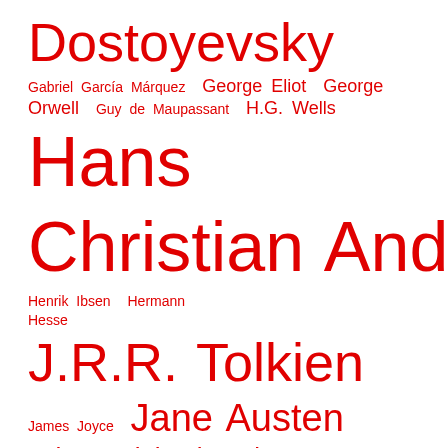[Figure (infographic): A word cloud of author names in red, with font sizes varying by prominence. Names include: Dostoyevsky, Gabriel García Márquez, George Eliot, George Orwell, Guy de Maupassant, H.G. Wells, Hans Christian Andersen, Henrik Ibsen, Hermann Hesse, J.R.R. Tolkien, James Joyce, Jane Austen, John Steinbeck, Jules Verne, Leo Tolstoy, Margaret Atwood, Mark Twain, Michael Coleman, Michael Ende, Moliere, Nikolai Vasilievich Gogol, Oscar Wilde, Ovid, Ray Bradbury, Rudyard Kipling, Thomas Mann, Unknown Author, Ursula K. LeGuin, Virginia Woolf, William.]